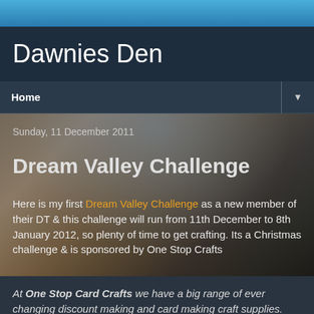Dawnies Den
Home
Sunday, 11 December 2011
Dream Valley Challenge
Here is my first Dream Valley Challenge as a new member of their DT & this challenge will run from 11th December to 8th January 2012, so plenty of time to get crafting. Its a Christmas challenge & is sponsored by One Stop Crafts
At One Stop Card Crafts we have a big range of ever changing discount making and card making craft supplies.
We are always adding to our range of craft supplies which are ideal for making handmade greeting cards, do-it-yourself invitations scrapbook pages altered items and much more...